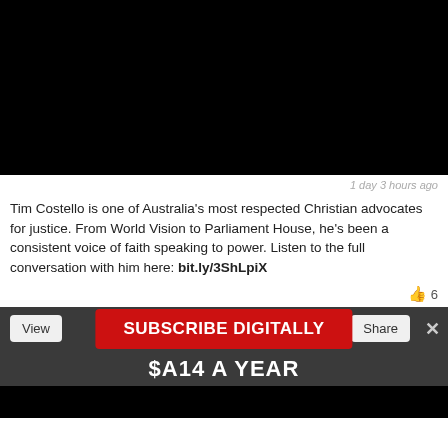[Figure (screenshot): Black video thumbnail placeholder]
1 day 3 hours ago
Tim Costello is one of Australia's most respected Christian advocates for justice. From World Vision to Parliament House, he's been a consistent voice of faith speaking to power. Listen to the full conversation with him here: bit.ly/3ShLpiX
👍 6
View
SUBSCRIBE DIGITALLY
Share
×
$A14 A YEAR
[Figure (screenshot): Black video thumbnail at bottom]